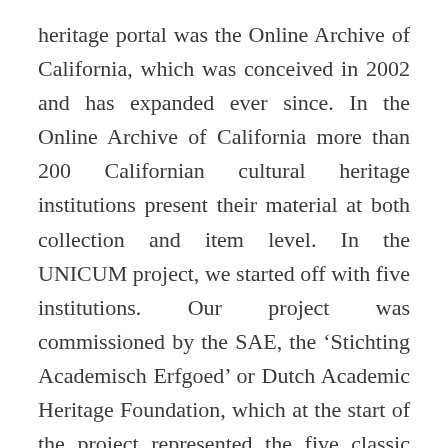heritage portal was the Online Archive of California, which was conceived in 2002 and has expanded ever since. In the Online Archive of California more than 200 Californian cultural heritage institutions present their material at both collection and item level. In the UNICUM project, we started off with five institutions. Our project was commissioned by the SAE, the ‘Stichting Academisch Erfgoed’ or Dutch Academic Heritage Foundation, which at the start of the project represented the five classic Dutch universities: Utrecht and Groningen, being represented by their university museums, and Leiden, Delft and Amsterdam by their university libraries. Last year four other universities joined the SAE – Maastricht, Eindhoven, Wageningen and the Free University of Amsterdam. These four